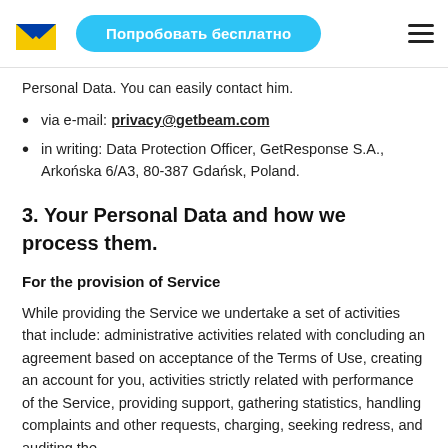Попробовать бесплатно
Personal Data. You can easily contact him.
via e-mail: privacy@getbeam.com
in writing: Data Protection Officer, GetResponse S.A., Arkońska 6/A3, 80-387 Gdańsk, Poland.
3. Your Personal Data and how we process them.
For the provision of Service
While providing the Service we undertake a set of activities that include: administrative activities related with concluding an agreement based on acceptance of the Terms of Use, creating an account for you, activities strictly related with performance of the Service, providing support, gathering statistics, handling complaints and other requests, charging, seeking redress, and auditing the